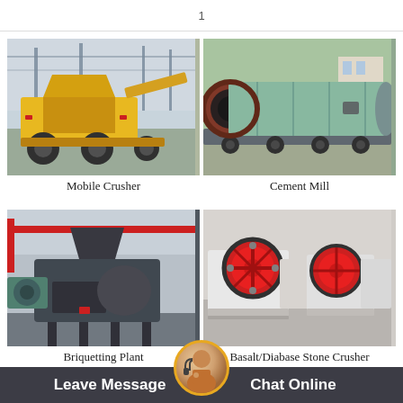1
[Figure (photo): Yellow mobile crusher machine on wheels in a factory/industrial setting]
Mobile Crusher
[Figure (photo): Large horizontal cylindrical cement mill on a truck trailer, light blue/green color with dark red ends]
Cement Mill
[Figure (photo): Dark gray briquetting plant machine in an industrial building]
Briquetting Plant
[Figure (photo): White and red basalt/diabase stone crusher machines lined up in a facility]
Basalt/Diabase Stone Crusher
Leave Message   Chat Online